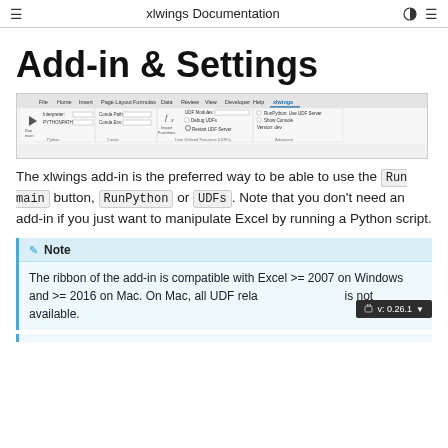xlwings Documentation
Add-in & Settings
[Figure (screenshot): Excel ribbon screenshot showing xlwings tab with Python, Conda, User Defined Functions (UDFs), and Advanced groups]
The xlwings add-in is the preferred way to be able to use the Run main button, RunPython or UDFs. Note that you don't need an add-in if you just want to manipulate Excel by running a Python script.
Note
The ribbon of the add-in is compatible with Excel >= 2007 on Windows and >= 2016 on Mac. On Mac, all UDF related functionality is not available.